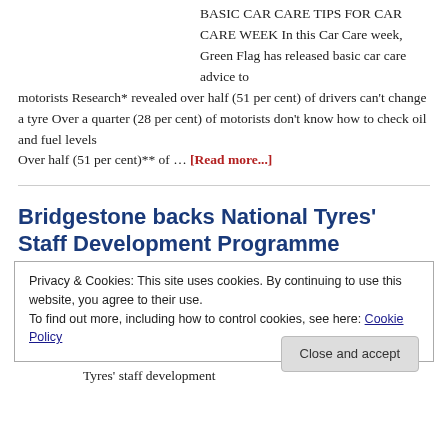BASIC CAR CARE TIPS FOR CAR CARE WEEK In this Car Care week, Green Flag has released basic car care advice to motorists Research* revealed over half (51 per cent) of drivers can't change a tyre Over a quarter (28 per cent) of motorists don't know how to check oil and fuel levels Over half (51 per cent)** of ... [Read more...]
Bridgestone backs National Tyres' Staff Development Programme
Privacy & Cookies: This site uses cookies. By continuing to use this website, you agree to their use. To find out more, including how to control cookies, see here: Cookie Policy
Close and accept
Tyres' staff development